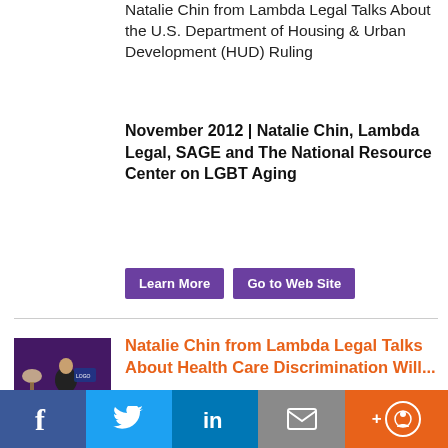Natalie Chin from Lambda Legal Talks About the U.S. Department of Housing & Urban Development (HUD) Ruling
November 2012 | Natalie Chin, Lambda Legal, SAGE and The National Resource Center on LGBT Aging
Learn More
Go to Web Site
[Figure (photo): Photo of Natalie Chin speaking at a podium with a dark purple background, a lamp visible to the left]
Natalie Chin from Lambda Legal Talks About Health Care Discrimination Will...
Social sharing bar: Facebook, Twitter, LinkedIn, Email, Accessibility